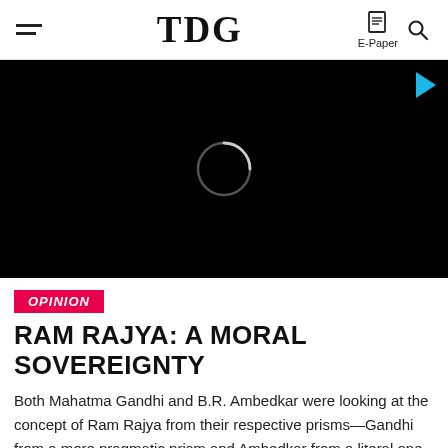TDG | E-Paper
[Figure (screenshot): Black video player area with a circular loading spinner in the center and a small cyan/blue triangle play button in the top-right corner.]
OPINION
RAM RAJYA: A MORAL SOVEREIGNTY
Both Mahatma Gandhi and B.R. Ambedkar were looking at the concept of Ram Rajya from their respective prisms—Gandhi from a more pragmatic prism and Ambedkar from a literal one. But both